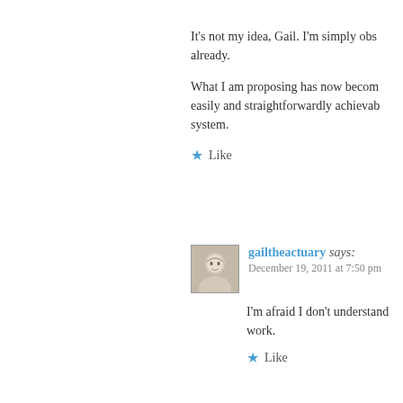It’s not my idea, Gail. I’m simply obs already.
What I am proposing has now becom easily and straightforwardly achievab system.
★ Like
gailtheactuary says: December 19, 2011 at 7:50 pm
I’m afraid I don’t understand work.
★ Like